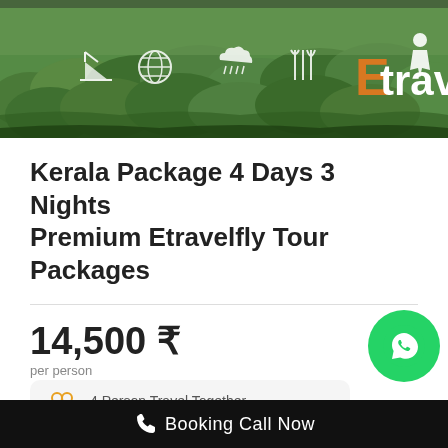[Figure (photo): Green tea garden landscape with travel website header icons (boat, globe, cloud/umbrella, fork/spoon) and 'Etrave' logo text on right]
Kerala Package 4 Days 3 Nights Premium Etravelfly Tour Packages
14,500 ₹
per person
VIEW TOUR
4 Person Travel Together
Booking Call Now